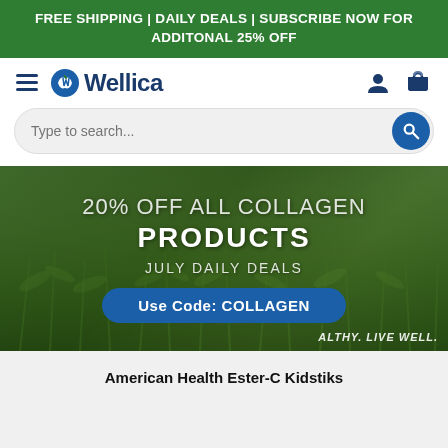FREE SHIPPING | DAILY DEALS | SUBSCRIBE NOW FOR ADDITONAL 25% OFF
[Figure (logo): Wellica logo with hamburger menu, user icon, and cart icon in navigation bar]
Type to search...
[Figure (photo): Hero banner with green crop field background showing 20% OFF ALL COLLAGEN PRODUCTS, JULY DAILY DEALS, Use Code: COLLAGEN button, and HEALTHY. LIVE WELL. tagline]
American Health Ester-C Kidstiks